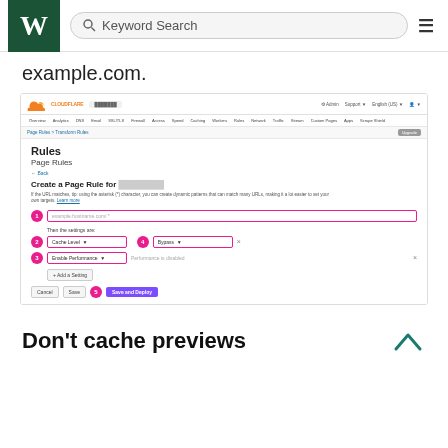Wikipedia - Keyword Search navigation bar
example.com.
[Figure (screenshot): Cloudflare dashboard screenshot showing 'Create a Page Rule' interface with numbered steps 1-5: URL input field, Cache Level dropdown, Bypass option, a second dropdown for Enable Performance, and Save and Deploy button]
Don't cache previews